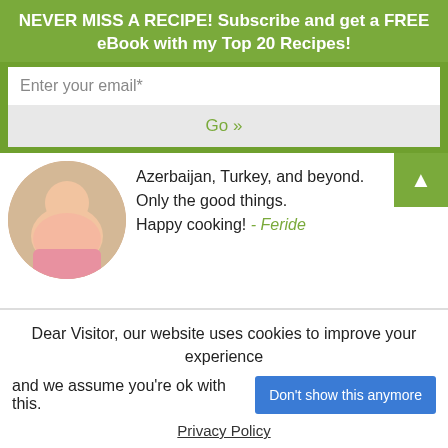NEVER MISS A RECIPE! Subscribe and get a FREE eBook with my Top 20 Recipes!
Enter your email*
Go »
Azerbaijan, Turkey, and beyond. Only the good things. Happy cooking! - Feride
My eBook
[Figure (illustration): App store icons for Kindle, Rakuten Kobo, a book reading app, and Apple Books]
Dear Visitor, our website uses cookies to improve your experience and we assume you're ok with this.
Don't show this anymore
Privacy Policy